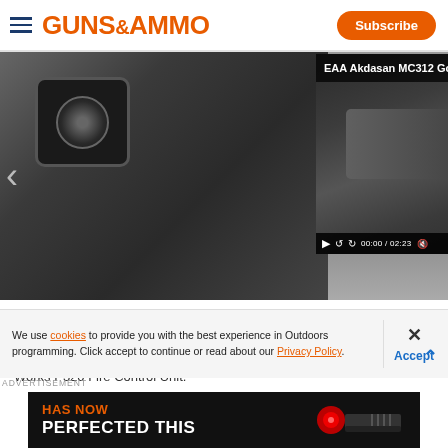GUNS & AMMO — Subscribe
[Figure (screenshot): Website screenshot showing Guns & Ammo article page with a video overlay popup for 'EAA Akdasan MC312 Goose Shotgun Review' displaying at 00:00 / 02:23, overlapping a dark image of a gun sight and the article title 'SIG Sauer...' with partial subtitle text 'Start building y... Works P320 Fire Control Unit.']
We use cookies to provide you with the best experience in Outdoors programming. Click accept to continue or read about our Privacy Policy.
Advertisement
[Figure (photo): Advertisement banner on black background reading 'HAS NOW PERFECTED THIS' with a red dot sight image]